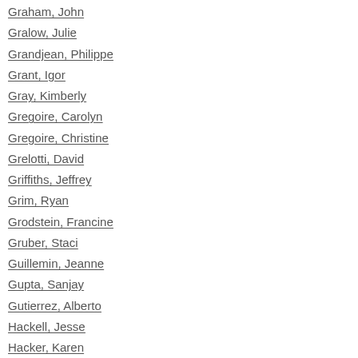Graham, John
Gralow, Julie
Grandjean, Philippe
Grant, Igor
Gray, Kimberly
Gregoire, Carolyn
Gregoire, Christine
Grelotti, David
Griffiths, Jeffrey
Grim, Ryan
Grodstein, Francine
Gruber, Staci
Guillemin, Jeanne
Gupta, Sanjay
Gutierrez, Alberto
Hackell, Jesse
Hacker, Karen